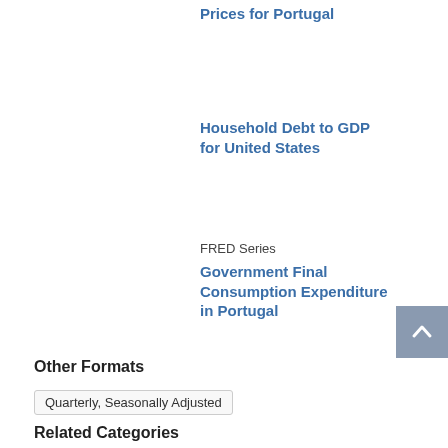Prices for Portugal
Household Debt to GDP for United States
FRED Series
Government Final Consumption Expenditure in Portugal
Other Formats
Quarterly, Seasonally Adjusted
Related Categories